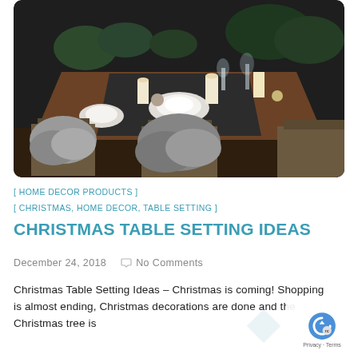[Figure (photo): A styled Christmas dining table with candles, white dinnerware, glassware, greenery, and chairs with gray fur throws draped over them. Dark background with plants.]
[ HOME DECOR PRODUCTS ]
[ CHRISTMAS, HOME DECOR, TABLE SETTING ]
CHRISTMAS TABLE SETTING IDEAS
December 24, 2018    No Comments
Christmas Table Setting Ideas – Christmas is coming! Shopping is almost ending, Christmas decorations are done and the Christmas tree is